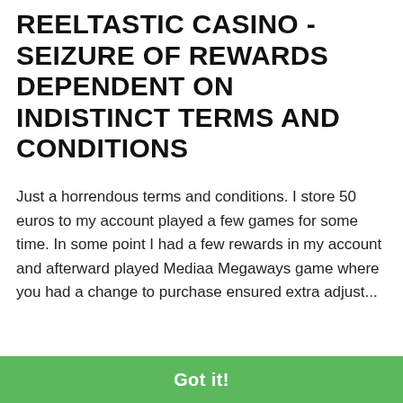REELTASTIC CASINO – SEIZURE OF REWARDS DEPENDENT ON INDISTINCT TERMS AND CONDITIONS
Just a horrendous terms and conditions. I store 50 euros to my account played a few games for some time. In some point I had a few rewards in my account and afterward played Mediaa Megaways game where you had a change to purchase ensured extra adjust...
Read more
RESOLVED
This website uses cookies to ensure you get the best experience on our website.
Learn more
LIGHTCASINO – STRANGE POSTPONE STRATEGIES WHEN PREPARING WITHDRAWAL
Got it!